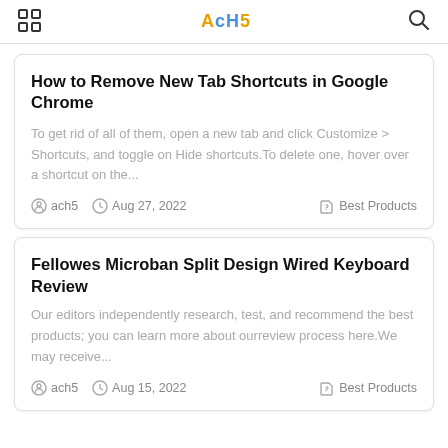AcH5
How to Remove New Tab Shortcuts in Google Chrome
To get rid of all of them, open a new tab and click Customize > Shortcuts, and toggle on Hide shortcuts.To delete one, hover over a shortcut on the...
ach5  Aug 27, 2022  Best Products
Fellowes Microban Split Design Wired Keyboard Review
Our editors independently research, test, and recommend the best products; you can learn more about ourreview process here.We may receive...
ach5  Aug 15, 2022  Best Products